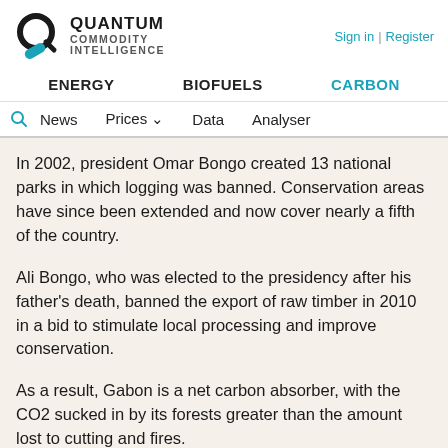Quantum Commodity Intelligence — Sign in | Register — ENERGY | BIOFUELS | CARBON — News | Prices | Data | Analyser
In 2002, president Omar Bongo created 13 national parks in which logging was banned. Conservation areas have since been extended and now cover nearly a fifth of the country.
Ali Bongo, who was elected to the presidency after his father's death, banned the export of raw timber in 2010 in a bid to stimulate local processing and improve conservation.
As a result, Gabon is a net carbon absorber, with the CO2 sucked in by its forests greater than the amount lost to cutting and fires.